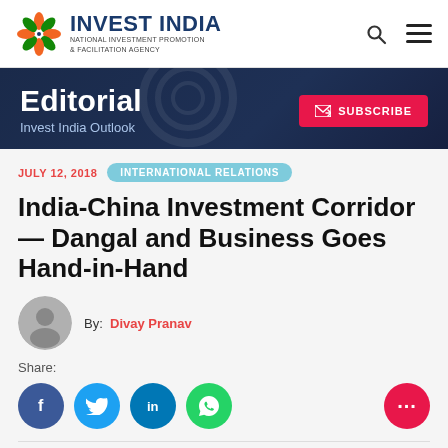INVEST INDIA — NATIONAL INVESTMENT PROMOTION & FACILITATION AGENCY
Editorial — Invest India Outlook
JULY 12, 2018   INTERNATIONAL RELATIONS
India-China Investment Corridor — Dangal and Business Goes Hand-in-Hand
By: Divay Pranav
Share: